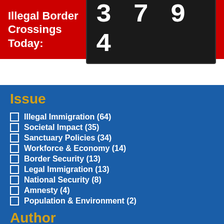Illegal Border Crossings Today: 3794
Issue
Illegal Immigration (64)
Societal Impact (35)
Sanctuary Policies (34)
Workforce & Economy (14)
Border Security (13)
Legal Immigration (13)
National Security (8)
Amnesty (4)
Population & Environment (2)
Author